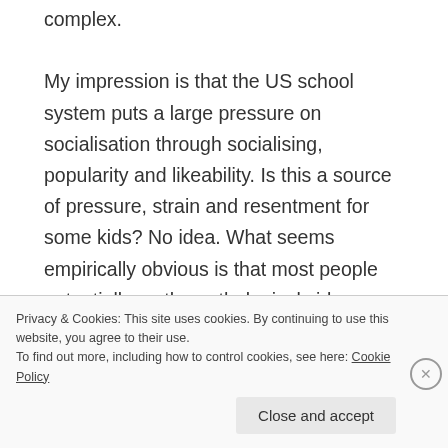complex. My impression is that the US school system puts a large pressure on socialisation through socialising, popularity and likeability. Is this a source of pressure, strain and resentment for some kids? No idea. What seems empirically obvious is that most people potentially on the pathological side grow up to ‘normal’
Privacy & Cookies: This site uses cookies. By continuing to use this website, you agree to their use.
To find out more, including how to control cookies, see here: Cookie Policy
Close and accept